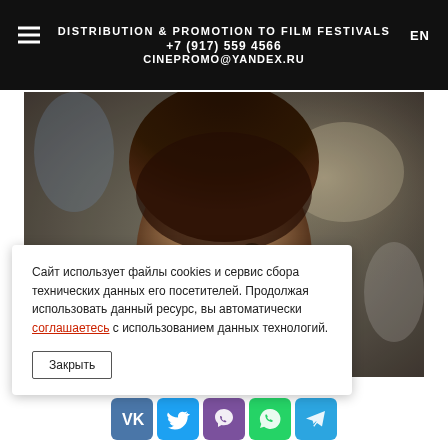DISTRIBUTION & PROMOTION TO FILM FESTIVALS
+7 (917) 559 4566
CINEPROMO@YANDEX.RU
[Figure (photo): Portrait photo of a man with dark hair, blurred background]
Сайт использует файлы cookies и сервис сбора технических данных его посетителей. Продолжая использовать данный ресурс, вы автоматически соглашаетесь с использованием данных технологий.
Закрыть
[Figure (infographic): Social media icons row: VK, Twitter, Viber, WhatsApp, Telegram]